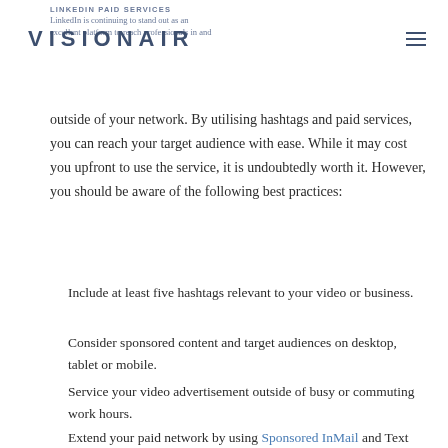LINKEDIN PAID SERVICES
LinkedIn is continuing to stand out as an excellent platform to reach professionals in and outside of your network. By utilising hashtags and paid services, you can reach your target audience with ease. While it may cost you upfront to use the service, it is undoubtedly worth it. However, you should be aware of the following best practices:
Include at least five hashtags relevant to your video or business.
Consider sponsored content and target audiences on desktop, tablet or mobile.
Service your video advertisement outside of busy or commuting work hours.
Extend your paid network by using Sponsored InMail and Text Ads to promote your video.